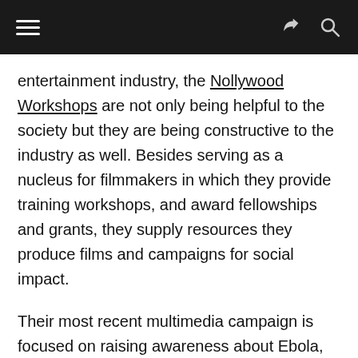[hamburger menu] [share icon] [search icon]
entertainment industry, the Nollywood Workshops are not only being helpful to the society but they are being constructive to the industry as well. Besides serving as a nucleus for filmmakers in which they provide training workshops, and award fellowships and grants, they supply resources they produce films and campaigns for social impact.
Their most recent multimedia campaign is focused on raising awareness about Ebola, Lens on Ebola which was co-created with Hub Nigeria in partnership with Naija246Medic and Mainframe Films is doing big things. They basically get their information from the US Centre for Disease Control and make captivating advertisements